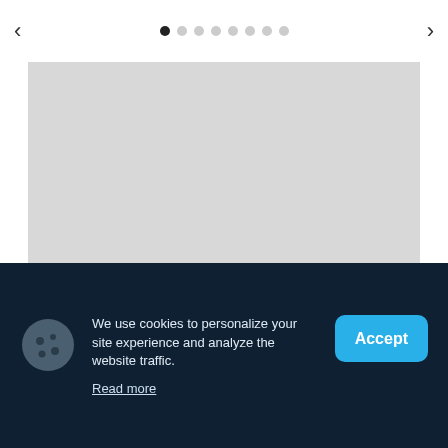[Figure (screenshot): Carousel navigation bar with left arrow, 8 pagination dots (first dot filled/active), and right arrow]
[Figure (photo): Gray image placeholder rectangle representing a sailing video thumbnail]
SAILING
Contenders for the title «Sailing Video of the
We use cookies to personalize your site experience and analyze the website traffic.
Read more